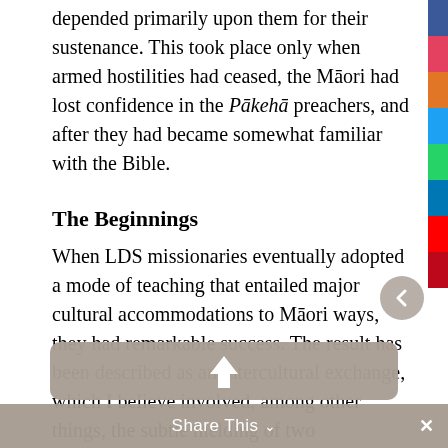depended primarily upon them for their sustenance. This took place only when armed hostilities had ceased, the Māori had lost confidence in the Pākehā preachers, and after they had became somewhat familiar with the Bible.
The Beginnings
When LDS missionaries eventually adopted a mode of teaching that entailed major cultural accommodations to Māori ways, they had remarkable success. The result has been described as an intercultural exchange, which I believe involved, among other things, the subtle melding of two commensurate prophetic traditions. The initial breakthrough began on 5 April 1881, when William J. McDonnel was called by William M. Bromley, the New Zealand mission president, to serve as a missionary to the Māori. McDonnel had joined the